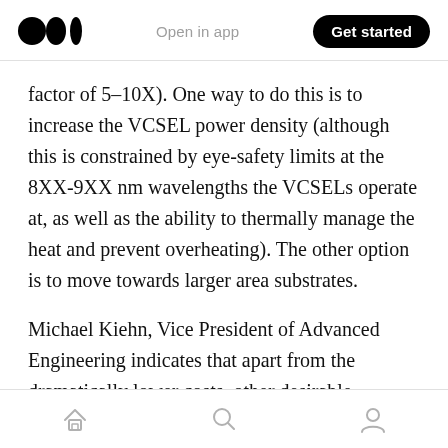Medium logo | Open in app | Get started
factor of 5–10X). One way to do this is to increase the VCSEL power density (although this is constrained by eye-safety limits at the 8XX-9XX nm wavelengths the VCSELs operate at, as well as the ability to thermally manage the heat and prevent overheating). The other option is to move towards larger area substrates.
Michael Kiehn, Vice President of Advanced Engineering indicates that apart from the dramatically lower costs, other desirable features of next generation VCSELs include:
Home | Search | Profile